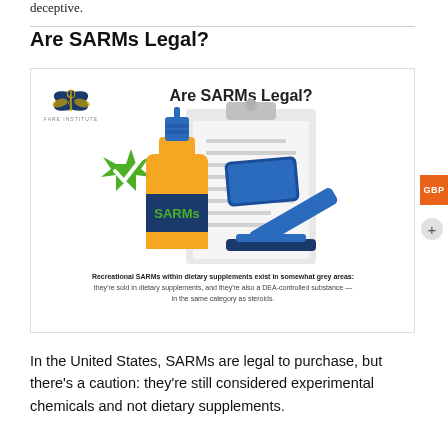deceptive.
Are SARMs Legal?
[Figure (infographic): Infographic titled 'Are SARMs Legal?' showing a green checkmark seal/badge, an orange dropper bottle labeled 'SARMs', a clipboard with text lines, and a blue gavel/judge's hammer. Includes FARE Institute logo. Caption: 'Recreational SARMs within dietary supplements exist in somewhat grey areas: they're sold in dietary supplements, and they're also a DEA-controlled substance — in the same category as steroids.']
In the United States, SARMs are legal to purchase, but there's a caution: they're still considered experimental chemicals and not dietary supplements.